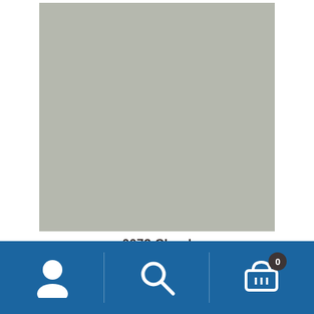[Figure (illustration): Paint color swatch showing a muted gray-green color identified as 0073 Cloud]
0073 Cloud
[Figure (illustration): Partial view of another paint color swatch in brownish-gray color at the bottom of the page]
[Figure (screenshot): Mobile app bottom navigation bar with blue background containing user account icon, search icon, and shopping cart icon with badge showing 0]